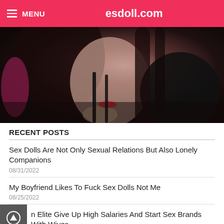MENU   esdoll.com
[Figure (photo): Close-up photo of a dark-haired woman with red lips wearing black clothing, leaning forward.]
RECENT POSTS
Sex Dolls Are Not Only Sexual Relations But Also Lonely Companions
08/31/2022
My Boyfriend Likes To Fuck Sex Dolls Not Me
08/25/2022
n Elite Give Up High Salaries And Start Sex Brands With Wives
08/23/2022